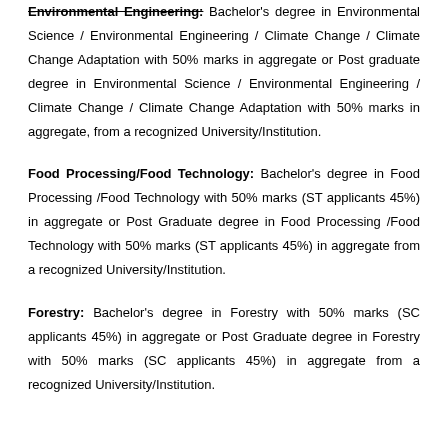Environmental Engineering: Bachelor's degree in Environmental Science / Environmental Engineering / Climate Change / Climate Change Adaptation with 50% marks in aggregate or Post graduate degree in Environmental Science / Environmental Engineering / Climate Change / Climate Change Adaptation with 50% marks in aggregate, from a recognized University/Institution.
Food Processing/Food Technology: Bachelor's degree in Food Processing /Food Technology with 50% marks (ST applicants 45%) in aggregate or Post Graduate degree in Food Processing /Food Technology with 50% marks (ST applicants 45%) in aggregate from a recognized University/Institution.
Forestry: Bachelor's degree in Forestry with 50% marks (SC applicants 45%) in aggregate or Post Graduate degree in Forestry with 50% marks (SC applicants 45%) in aggregate from a recognized University/Institution.